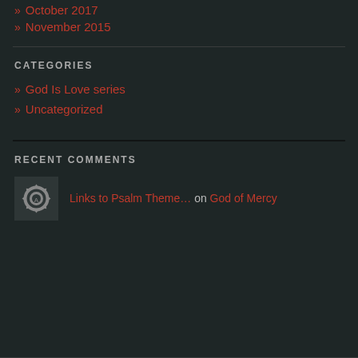» October 2017
» November 2015
CATEGORIES
» God Is Love series
» Uncategorized
RECENT COMMENTS
Links to Psalm Theme… on God of Mercy